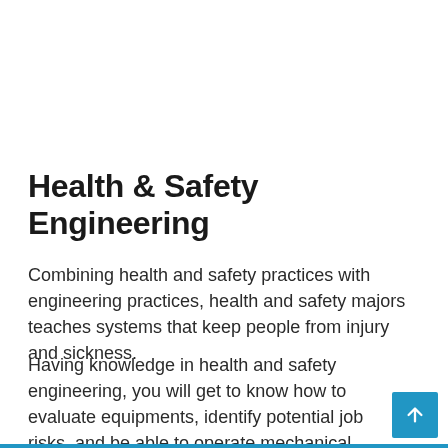Health & Safety Engineering
Combining health and safety practices with engineering practices, health and safety majors teaches systems that keep people from injury and sickness.
Having knowledge in health and safety engineering, you will get to know how to evaluate equipments, identify potential job risks, and be able to operate mechanical controls.